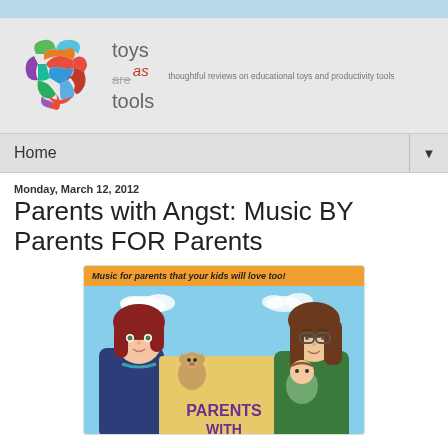[Figure (logo): Toys Are Tools website logo featuring a colorful brain illustration and site name with tagline 'thoughtful reviews on educational toys and productivity tools']
Home
Monday, March 12, 2012
Parents with Angst: Music BY Parents FOR Parents
[Figure (illustration): Album cover for 'Parents With Angst' showing two cartoon mothers, one with red hair holding a teddy bear and one with brown hair holding a baby, against a blue sky background. Orange banner at top reads 'Music for parents that your kids will love too!' Text at bottom reads 'PARENTS WITH' in large letters.]